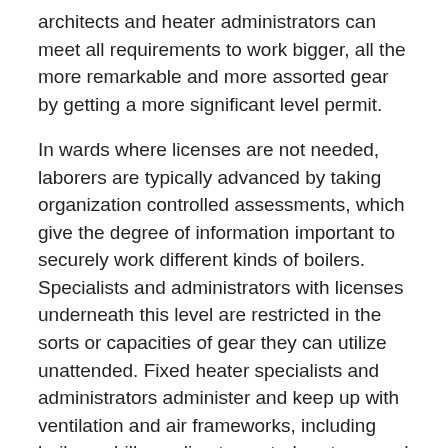architects and heater administrators can meet all requirements to work bigger, all the more remarkable and more assorted gear by getting a more significant level permit.
In wards where licenses are not needed, laborers are typically advanced by taking organization controlled assessments, which give the degree of information important to securely work different kinds of boilers. Specialists and administrators with licenses underneath this level are restricted in the sorts or capacities of gear they can utilize unattended. Fixed heater specialists and administrators administer and keep up with ventilation and air frameworks, including boilers, chillers, climate control systems and refrigeration gear, condensers and blowers, and the Board of Stationary Engineers of Maryland requires all people offering fixed specialized types of assistance in Maryland to be authorized.
About Steam Boilers Stationary specialists screen, control and record steam pressure, temperature, water level and